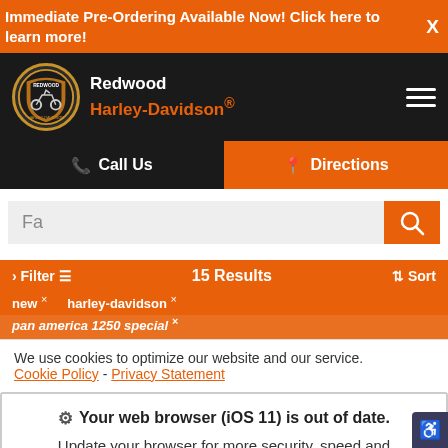Immediate Pre-Ordering Available Now! Click here to learn more!
[Figure (logo): Redwood Harley-Davidson shield logo with motorcycle rider, orange and black colors]
Redwood Harley-Davidson®
Call Us
Directions
Fa
Filter  15 Results  Sort
new ×   harley-davidson ×
pan america 1250 special ×
We use cookies to optimize our website and our service.
Cookie Policy - Privacy Statement
Your web browser (iOS 11) is out of date.
Update your browser for more security, speed and the best experience on this site.
Update browser